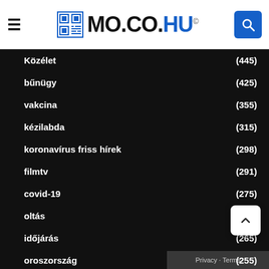MO.CO.HU©
Közélet (445)
bűnügy (425)
vakcina (355)
kézilabda (315)
koronavírus friss hírek (298)
filmtv (291)
covid-19 (275)
oltás (275)
időjárás (265)
oroszország (255)
VILÁG ANGOL (1,565)
Featured (1,378)
VC Funding
Fintech (286)